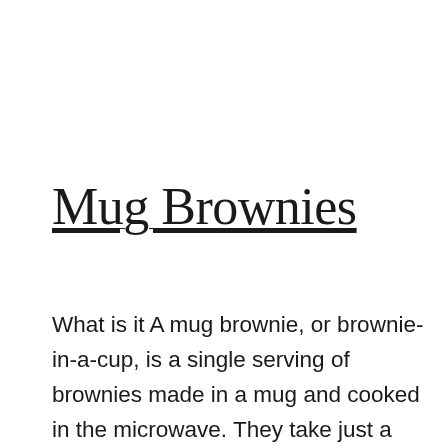Mug Brownies
What is it A mug brownie, or brownie-in-a-cup, is a single serving of brownies made in a mug and cooked in the microwave. They take just a few minutes to make, are vegan, and very tasty. Mix equal parts flour, sugar, cocoa powder, oil, and water in a mug. Microwave for a minute. Done, i.e.